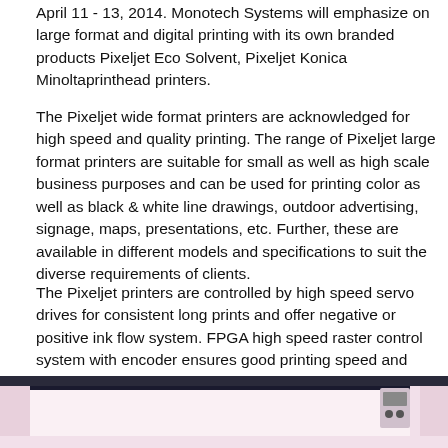April 11 - 13, 2014. Monotech Systems will emphasize on large format and digital printing with its own branded products Pixeljet Eco Solvent, Pixeljet Konica Minoltaprinthead printers.
The Pixeljet wide format printers are acknowledged for high speed and quality printing. The range of Pixeljet large format printers are suitable for small as well as high scale business purposes and can be used for printing color as well as black & white line drawings, outdoor advertising, signage, maps, presentations, etc. Further, these are available in different models and specifications to suit the diverse requirements of clients.
The Pixeljet printers are controlled by high speed servo drives for consistent long prints and offer negative or positive ink flow system. FPGA high speed raster control system with encoder ensures good printing speed and high precision printing. The printers are also equipped with highly efficient hot air drying system and are upgradable to higher models in their category.
[Figure (photo): Bottom portion of a large format printer device, showing the front panel of the machine in pink/white color with dark border at the top.]